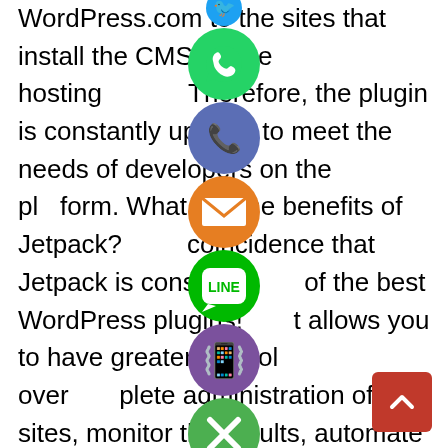WordPress.com to the sites that install the CMS on the hosting. Therefore, the plugin is constantly updated to meet the needs of developers on the platform. What are the benefits of Jetpack? No coincidence that Jetpack is considered one of the best WordPress plugins! It allows you to have greater control over complete administration of the sites, monitor the results, automate Marketing tasks and guarantee all their security. There are many possibilities, which reinforces how essential it is to have such a complete app. All of these features represent a long list of benefits that the Jetpack user can take advantage of. Learn about the main ones below and understand more about each one.
[Figure (infographic): A vertical column of social sharing icons overlaid on the text: WhatsApp (green circle with phone handset), Phone/Call (blue-purple circle with phone), Email (orange circle with envelope), LINE (green circle with LINE logo), Viber (purple circle with phone), Close/X (green circle with X). Also a red back-to-top button with upward arrow chevron in the bottom-right corner.]